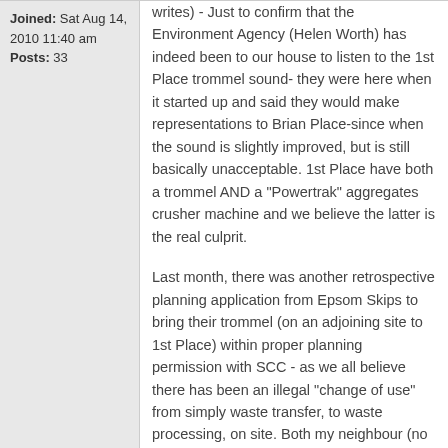Joined: Sat Aug 14, 2010 11:40 am
Posts: 33
writes) - Just to confirm that the Environment Agency (Helen Worth) has indeed been to our house to listen to the 1st Place trommel sound- they were here when it started up and said they would make representations to Brian Place-since when the sound is slightly improved, but is still basically unacceptable. 1st Place have both a trommel AND a "Powertrak" aggregates crusher machine and we believe the latter is the real culprit.
Last month, there was another retrospective planning application from Epsom Skips to bring their trommel (on an adjoining site to 1st Place) within proper planning permission with SCC - as we all believe there has been an illegal "change of use" from simply waste transfer, to waste processing, on site. Both my neighbour (no 55, Longdown